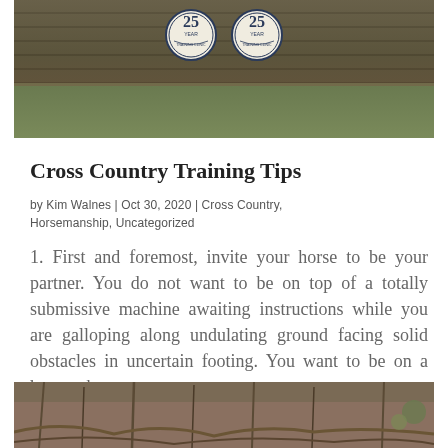[Figure (photo): Outdoor scene with log wall background, green grass, and two circular '25 Year' anniversary badges/signs visible]
Cross Country Training Tips
by Kim Walnes | Oct 30, 2020 | Cross Country, Horsemanship, Uncategorized
1. First and foremost, invite your horse to be your partner. You do not want to be on top of a totally submissive machine awaiting instructions while you are galloping along undulating ground facing solid obstacles in uncertain footing. You want to be on a horse who...
[Figure (photo): Outdoor nature scene with bare winter trees and sparse vegetation]